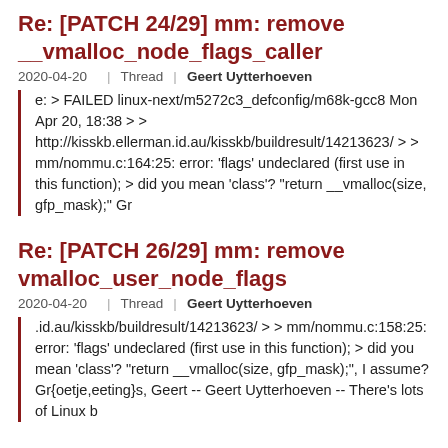Re: [PATCH 24/29] mm: remove __vmalloc_node_flags_caller
2020-04-20  |  Thread  |  Geert Uytterhoeven
e: > FAILED linux-next/m5272c3_defconfig/m68k-gcc8 Mon Apr 20, 18:38 > > http://kisskb.ellerman.id.au/kisskb/buildresult/14213623/ > > mm/nommu.c:164:25: error: 'flags' undeclared (first use in this function); > did you mean 'class'? "return __vmalloc(size, gfp_mask);" Gr
Re: [PATCH 26/29] mm: remove vmalloc_user_node_flags
2020-04-20  |  Thread  |  Geert Uytterhoeven
.id.au/kisskb/buildresult/14213623/ > > mm/nommu.c:158:25: error: 'flags' undeclared (first use in this function); > did you mean 'class'? "return __vmalloc(size, gfp_mask);", I assume? Gr{oetje,eeting}s, Geert -- Geert Uytterhoeven -- There's lots of Linux b
Re: [PATCH v4] dt-bindings: iommu: renesas, ipmmu-vmsa: convert to json-schema
2020-04-17  |  Thread  |  Geert Uytterhoeven